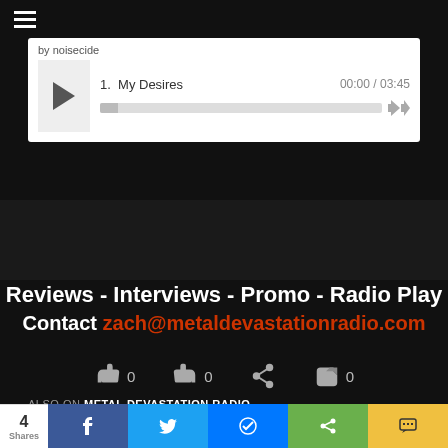[Figure (screenshot): Hamburger menu icon (three horizontal lines) in top-left corner on dark background]
[Figure (screenshot): Audio player widget with white background showing 'by noisecide', play button, track '1. My Desires', time '00:00 / 03:45', progress bar, and skip controls]
Reviews - Interviews - Promo - Radio Play
Contact zach@metaldevastationradio.com
[Figure (infographic): Social interaction row with thumbs up (0), thumbs down (0), share icon, and tag icon (0)]
ALSO ON METAL DEVASTATION RADIO
[Figure (photo): Two partially visible thumbnail images of metal-related content]
[Figure (infographic): Bottom share bar with count '4 Shares', Facebook, Twitter, Messenger, sharethis, and SMS buttons]